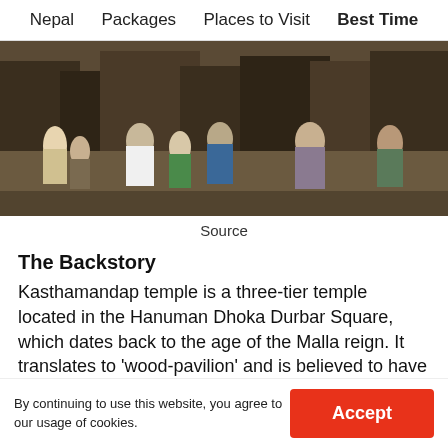Nepal   Packages   Places to Visit   Best Time
[Figure (photo): Crowded street scene in Nepal with people walking, market stalls, and buildings in the background]
Source
The Backstory
Kasthamandap temple is a three-tier temple located in the Hanuman Dhoka Durbar Square, which dates back to the age of the Malla reign. It translates to 'wood-pavilion' and is believed to have been built from a single tree. Initially, it served as a 'mandapa', or a podium for sacred ceremonies, however, it was later made into a temple dedicated to Saint
By continuing to use this website, you agree to our usage of cookies.